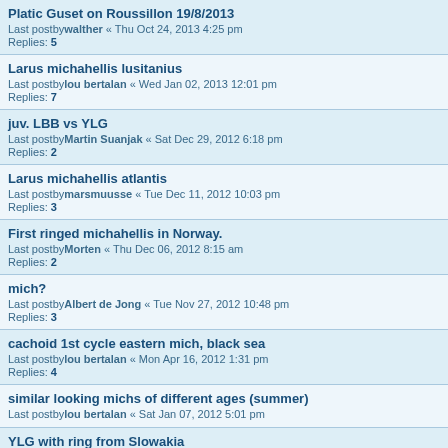Platic Guset on Roussillon 19/8/2013
Last postbywalther « Thu Oct 24, 2013 4:25 pm
Replies: 5
Larus michahellis lusitanius
Last postbylou bertalan « Wed Jan 02, 2013 12:01 pm
Replies: 7
juv. LBB vs YLG
Last postbyMartin Suanjak « Sat Dec 29, 2012 6:18 pm
Replies: 2
Larus michahellis atlantis
Last postbymarsmuusse « Tue Dec 11, 2012 10:03 pm
Replies: 3
First ringed michahellis in Norway.
Last postbyMorten « Thu Dec 06, 2012 8:15 am
Replies: 2
mich?
Last postbyAlbert de Jong « Tue Nov 27, 2012 10:48 pm
Replies: 3
cachoid 1st cycle eastern mich, black sea
Last postbylou bertalan « Mon Apr 16, 2012 1:31 pm
Replies: 4
similar looking michs of different ages (summer)
Last postbylou bertalan « Sat Jan 07, 2012 5:01 pm
YLG with ring from Slowakia
Last postbyWolfgangSchweighofer « Sun Nov 27, 2011 2:45 pm
Replies: 9
canarian "intergrades": michahellis from lanzarote
Last postbylou bertalan « Mon Oct 17, 2011 7:36 am